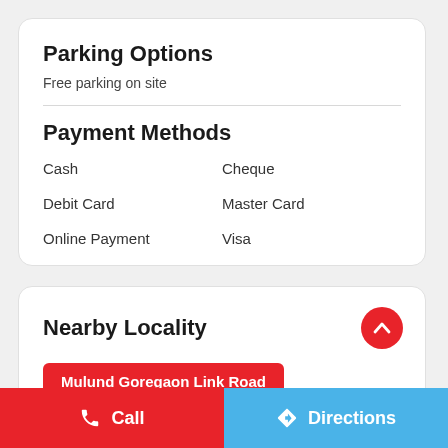Parking Options
Free parking on site
Payment Methods
Cash
Cheque
Debit Card
Master Card
Online Payment
Visa
Nearby Locality
Mulund Goregaon Link Road
Call   Directions